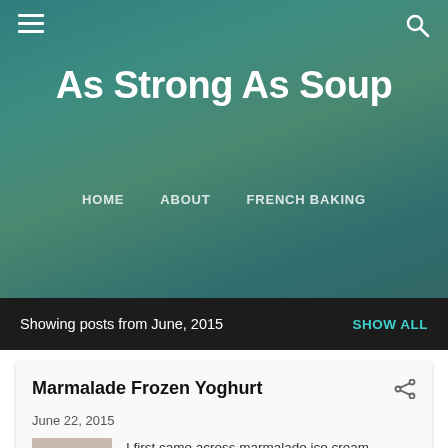[Figure (screenshot): Blog website header with teal/green blurred background, hamburger menu icon on left, search icon on right]
As Strong As Soup
HOME   ABOUT   FRENCH BAKING
Showing posts from June, 2015   SHOW ALL
Marmalade Frozen Yoghurt
June 22, 2015
[Figure (photo): A blue mug with a yellow-green frozen yoghurt scoop on top, placed on a striped cloth on a blue surface]
I first came across marmalade ice cream sometime in the 1980s when Sophie Grigson published the recipe in a London